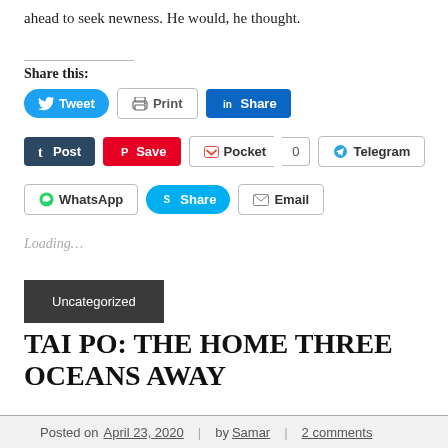ahead to seek newness. He would, he thought.
Share this:
[Figure (screenshot): Social sharing buttons: Tweet, Print, Share (LinkedIn), Post (Tumblr), Save (Pinterest), Pocket, 0, Telegram, WhatsApp, Share (Skype), Email]
Loading...
Uncategorized
TAI PO: THE HOME THREE OCEANS AWAY
Posted on April 23, 2020 | by Samar | 2 comments